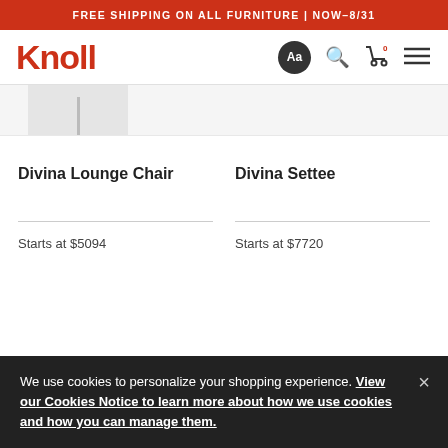FREE SHIPPING ON ALL FURNITURE | NOW–8/31
[Figure (logo): Knoll logo in red with navigation icons: Aa, search, cart (0), hamburger menu]
[Figure (photo): Partial product image area showing chair leg/stand]
Divina Lounge Chair
Starts at $5094
Divina Settee
Starts at $7720
We use cookies to personalize your shopping experience. View our Cookies Notice to learn more about how we use cookies and how you can manage them.